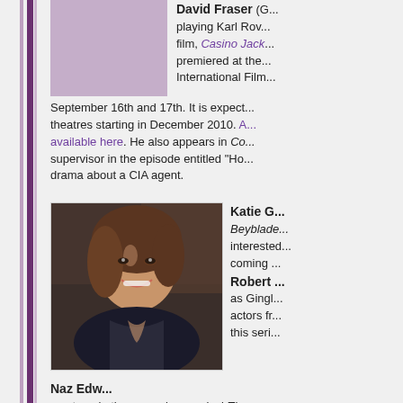[Figure (photo): Purple/mauve colored placeholder photo box for David Fraser]
David Fraser (G... playing Karl Rov... film, Casino Jack... premiered at the... International Film... September 16th and 17th. It is expect... theatres starting in December 2010. A... available here. He also appears in Co... supervisor in the episode entitled "Ho... drama about a CIA agent.
[Figure (photo): Photo of Katie G, a smiling woman with brown hair wearing a dark top]
Katie G... Beyblade... interested... coming ... Robert ... as Gingl... actors fr... this seri...
Naz Edw... on stage in the upcoming musical The... November 11 – December 26, 2010 a... Ann Arbor, Michigan. Ticket informatio...